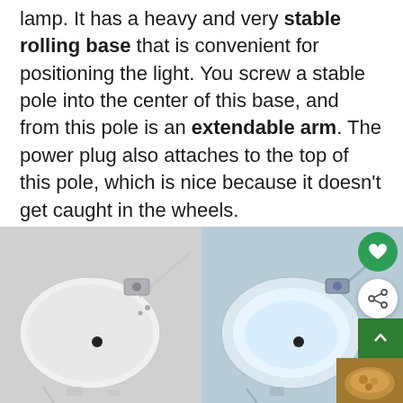lamp. It has a heavy and very stable rolling base that is convenient for positioning the light. You screw a stable pole into the center of this base, and from this pole is an extendable arm. The power plug also attaches to the top of this pole, which is nice because it doesn't get caught in the wheels.
[Figure (photo): Two side-by-side product photos of a magnifying lamp. Left image shows the lamp from above with extended arm mechanism visible, white oval magnifier head, against light grey background. Right image shows a similar view with the lamp lit/illuminated, slightly blue-tinted light visible inside the lens.]